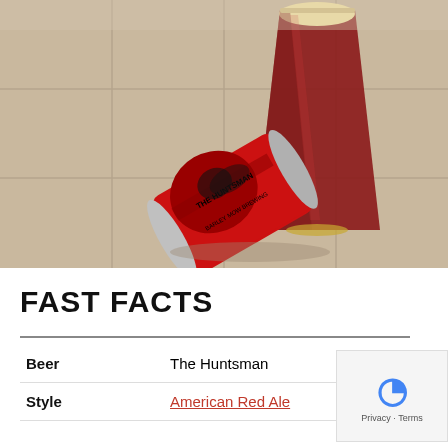[Figure (photo): A red can of The Huntsman beer (from Barley Mow Brewing) lying on its side on a tile surface, with a full pint glass of dark red beer with a foamy head behind it.]
FAST FACTS
| Beer | The Huntsman |
| Style | American Red Ale |